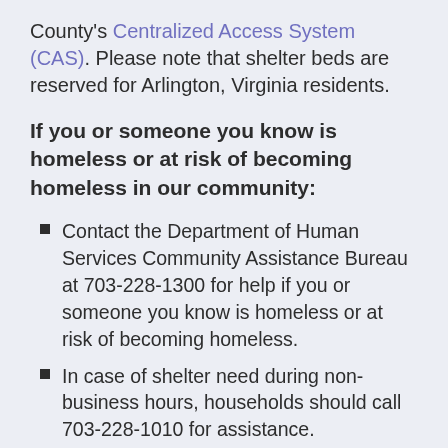County's Centralized Access System (CAS). Please note that shelter beds are reserved for Arlington, Virginia residents.
If you or someone you know is homeless or at risk of becoming homeless in our community:
Contact the Department of Human Services Community Assistance Bureau at 703-228-1300 for help if you or someone you know is homeless or at risk of becoming homeless.
In case of shelter need during non-business hours, households should call 703-228-1010 for assistance.